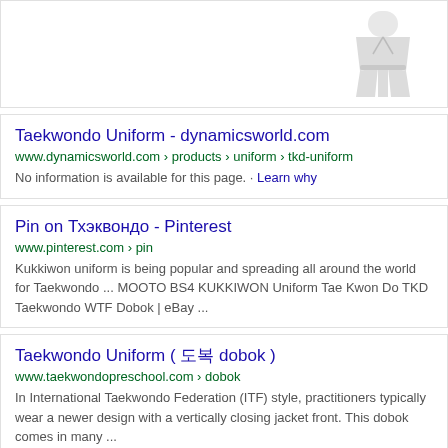[Figure (photo): Person wearing white taekwondo uniform (dobok), shown from mid-section down, in a stance pose]
Taekwondo Uniform - dynamicsworld.com
www.dynamicsworld.com › products › uniform › tkd-uniform
No information is available for this page. · Learn why
Pin on Тхэквондо - Pinterest
www.pinterest.com › pin
Kukkiwon uniform is being popular and spreading all around the world for Taekwondo ... MOOTO BS4 KUKKIWON Uniform Tae Kwon Do TKD Taekwondo WTF Dobok | eBay ...
Taekwondo Uniform ( 도복 dobok )
www.taekwondopreschool.com › dobok
In International Taekwondo Federation (ITF) style, practitioners typically wear a newer design with a vertically closing jacket front. This dobok comes in many ...
Taekwondo Uniforms - KungFu4Less
www.kungfu4less.com › tae-kwon-do
Items 1 - 49 of 49 · ADIDAS WTF APPROVED TKD UNIFORM BLACK V-NECK. Regular: $49.95. Sale Price: $29.95 ; STUDENT TAE KWON DO UNIFORM. Regular: $29.95. Sale Price: